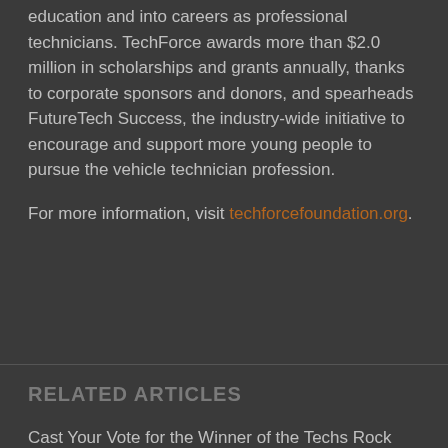education and into careers as professional technicians. TechForce awards more than $2.0 million in scholarships and grants annually, thanks to corporate sponsors and donors, and spearheads FutureTech Success, the industry-wide initiative to encourage and support more young people to pursue the vehicle technician profession.
For more information, visit techforcefoundation.org.
RELATED ARTICLES
Cast Your Vote for the Winner of the Techs Rock Awards
Online Voters Choose Grand Prize Winner of Techs Rock Contest
Moline Algier Wins TechForce Foundation's Techs...